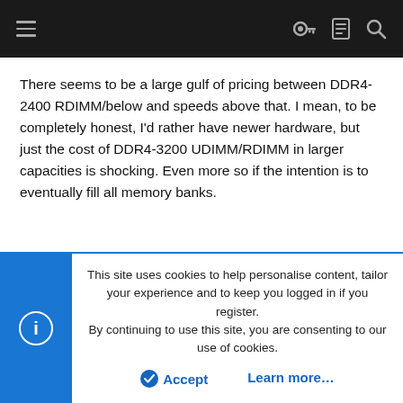Navigation bar with hamburger menu and icons
There seems to be a large gulf of pricing between DDR4-2400 RDIMM/below and speeds above that. I mean, to be completely honest, I'd rather have newer hardware, but just the cost of DDR4-3200 UDIMM/RDIMM in larger capacities is shocking. Even more so if the intention is to eventually fill all memory banks.
ReturnedSword
Active Member
May 5, 2022
#94
This site uses cookies to help personalise content, tailor your experience and to keep you logged in if you register.
By continuing to use this site, you are consenting to our use of cookies.
Accept   Learn more...